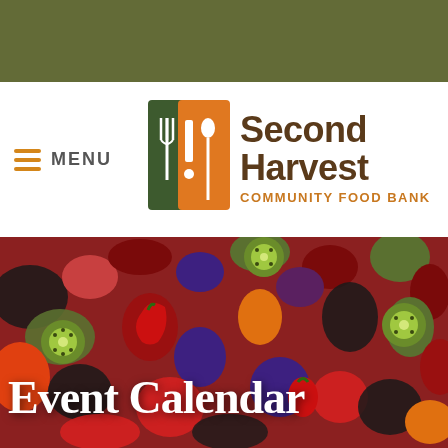[Figure (other): Olive/dark green top navigation bar]
[Figure (logo): Second Harvest Community Food Bank logo with fork and spoon icon inside a door shape, orange and dark green colors]
MENU
[Figure (photo): Close-up photo of mixed fresh fruit salad including strawberries, blackberries, grapes, kiwi slices, and orange pieces with 'Event Calendar' text overlaid in white]
Event Calendar